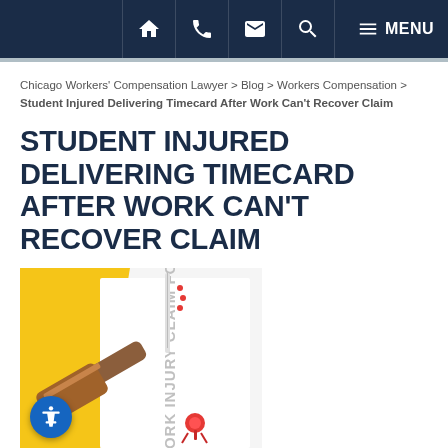Navigation bar with home, phone, email, search, and menu icons
Chicago Workers' Compensation Lawyer > Blog > Workers Compensation > Student Injured Delivering Timecard After Work Can't Recover Claim
STUDENT INJURED DELIVERING TIMECARD AFTER WORK CAN'T RECOVER CLAIM
[Figure (photo): Photo of a wooden judge's gavel resting next to a document reading 'WORK INJURY CLAIM FO...' with a red push pin, on a white background with yellow paper visible, suggesting a workers compensation legal context.]